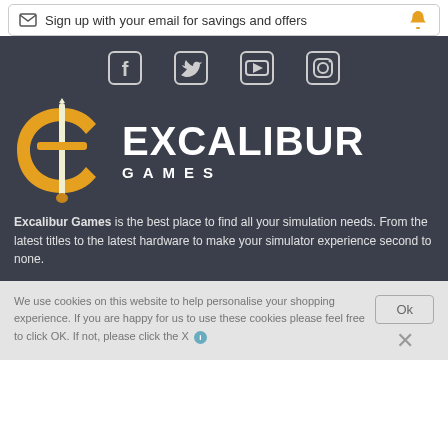Sign up with your email for savings and offers
[Figure (logo): Social media icons: Facebook, Twitter, YouTube, Instagram]
[Figure (logo): Excalibur Games logo with orange sword/letter E emblem and white EXCALIBUR GAMES text]
Excalibur Games is the best place to find all your simulation needs. From the latest titles to the latest hardware to make your simulator experience second to none.
We use cookies on this website to help personalise your shopping experience. If you are happy for us to use these cookies please feel free to click OK. If not, please click the X